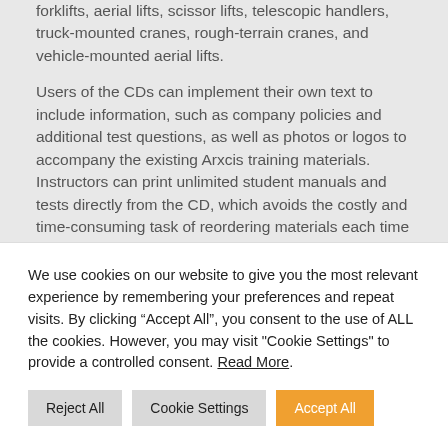forklifts, aerial lifts, scissor lifts, telescopic handlers, truck-mounted cranes, rough-terrain cranes, and vehicle-mounted aerial lifts.
Users of the CDs can implement their own text to include information, such as company policies and additional test questions, as well as photos or logos to accompany the existing Arxcis training materials. Instructors can print unlimited student manuals and tests directly from the CD, which avoids the costly and time-consuming task of reordering materials each time the course is given.
We use cookies on our website to give you the most relevant experience by remembering your preferences and repeat visits. By clicking “Accept All”, you consent to the use of ALL the cookies. However, you may visit "Cookie Settings" to provide a controlled consent. Read More.